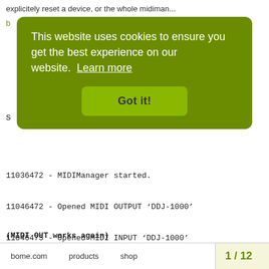explicitely reset a device, or the whole midiman...
[Figure (screenshot): Cookie consent overlay popup with green background. Text: 'This website uses cookies to ensure you get the best experience on our website. Learn more' with a 'Got it!' button.]
11036472 - MIDIManager started.
11046472 - Opened MIDI OUTPUT ‘DDJ-1000’
11046475 - Opened MIDI INPUT ‘DDJ-1000’
(MIDI OUT works again)
bome.com   products   shop   1 / 12